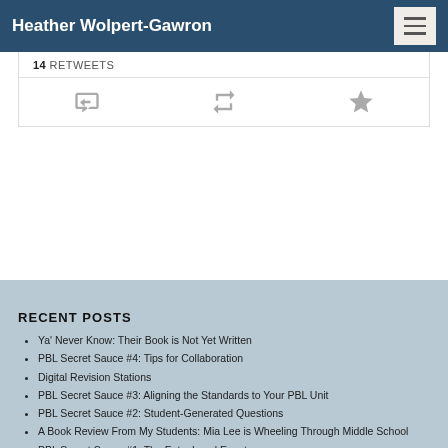Heather Wolpert-Gawron
14 RETWEETS
RECENT POSTS
Ya' Never Know: Their Book is Not Yet Written
PBL Secret Sauce #4: Tips for Collaboration
Digital Revision Stations
PBL Secret Sauce #3: Aligning the Standards to Your PBL Unit
PBL Secret Sauce #2: Student-Generated Questions
A Book Review From My Students: Mia Lee is Wheeling Through Middle School
PBL Secret Sauce #1: The Entry Level Event